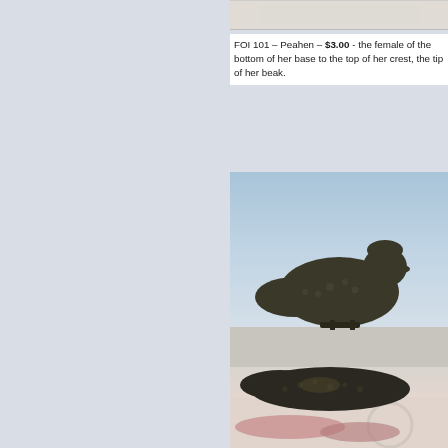[Figure (photo): Partial photo of a bird figurine at top, cropped]
FOI 101 – Peahen – $3.00 - the female of… bottom of her base to the top of her crest,… the tip of her beak.
[Figure (photo): Photo of a bronze/dark metal peahen figurine against a light blue-grey background]
[Figure (photo): Photo of a dark metal peacock/peahen figurine on a surface with ruler visible]